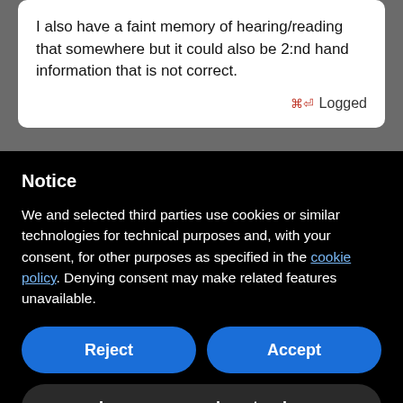I also have a faint memory of hearing/reading that somewhere but it could also be 2:nd hand information that is not correct.
Logged
Notice
We and selected third parties use cookies or similar technologies for technical purposes and, with your consent, for other purposes as specified in the cookie policy. Denying consent may make related features unavailable.
Reject
Accept
Learn more and customize